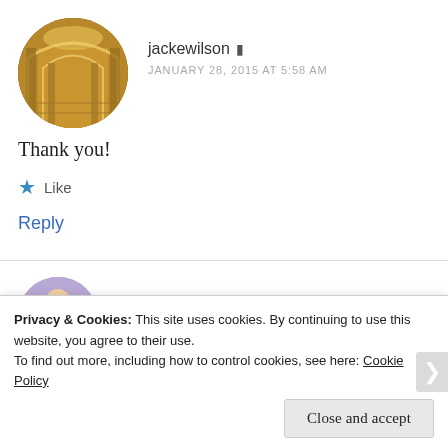[Figure (photo): Circular avatar of jackewilson showing an ornate cathedral interior with golden lighting]
jackewilson
JANUARY 28, 2015 AT 5:58 AM
Thank you!
Like
Reply
[Figure (photo): Circular avatar of xs2rahulz showing a man in a suit]
xs2rahulz
JANUARY 28, 2015 AT 12:34 AM
Privacy & Cookies: This site uses cookies. By continuing to use this website, you agree to their use.
To find out more, including how to control cookies, see here: Cookie Policy
Close and accept